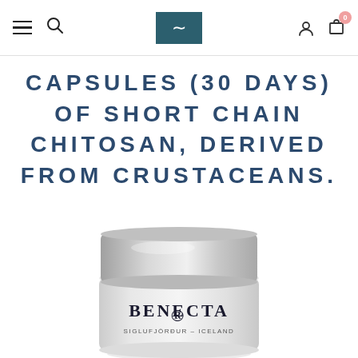Navigation bar with hamburger menu, search, logo, user icon, and cart (0)
CAPSULES (30 DAYS) OF SHORT CHAIN CHITOSAN, DERIVED FROM CRUSTACEANS.
[Figure (photo): A cylindrical silver and white cosmetic jar labeled BENECTA, SIGLUFJÖRÐUR - ICELAND, shown from a front-facing angle. The jar has a silver metallic lid and a white frosted body.]